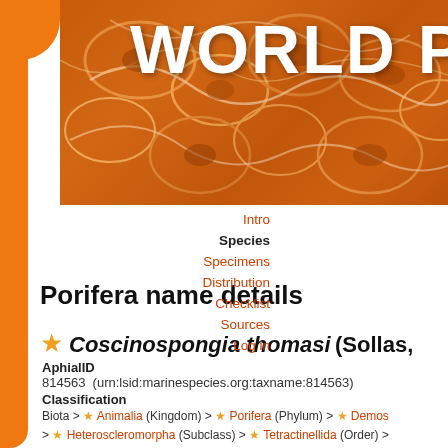[Figure (photo): World Porifera Database header image showing close-up of sponge texture in orange/brown tones with white 'WORLD PORI' text overlay]
WORLD PORI
Intro
Species
Specimens
Distribution
Checklist
Sources
Log in
Porifera name details
★ Coscinospongia thomasi (Sollas,
AphialID
814563  (urn:lsid:marinespecies.org:taxname:814563)
Classification
Biota > ★ Animalia (Kingdom) > ★ Porifera (Phylum) > ★ Demos > ★ Heteroscleromorpha (Subclass) > ★ Tetractinellida (Order) > ★ Coscinospongia (Genus) > ★ Coscinospongia thomasi (Specie
Status
✗ unaccepted (reverted genus transfer)
Accepted Name